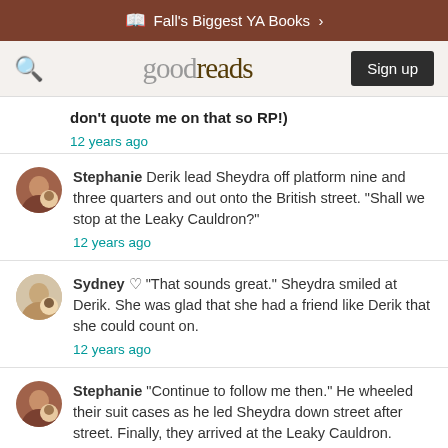Fall's Biggest YA Books >
[Figure (logo): Goodreads logo with search icon and Sign up button]
don't quote me on that so RP!)
12 years ago
Stephanie Derik lead Sheydra off platform nine and three quarters and out onto the British street. "Shall we stop at the Leaky Cauldron?"
12 years ago
Sydney ♡ "That sounds great." Sheydra smiled at Derik. She was glad that she had a friend like Derik that she could count on.
12 years ago
Stephanie "Continue to follow me then." He wheeled their suit cases as he led Sheydra down street after street. Finally, they arrived at the Leaky Cauldron. "Here we are," he said